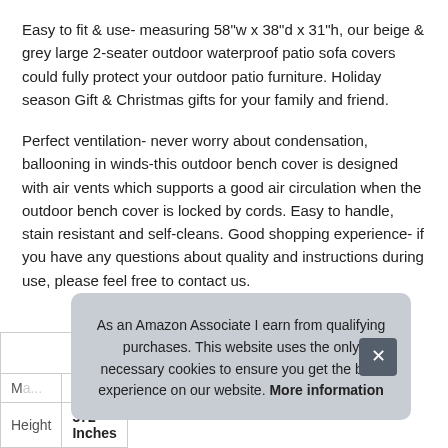Easy to fit & use- measuring 58"w x 38"d x 31"h, our beige & grey large 2-seater outdoor waterproof patio sofa covers could fully protect your outdoor patio furniture. Holiday season Gift & Christmas gifts for your family and friend.
Perfect ventilation- never worry about condensation, ballooning in winds-this outdoor bench cover is designed with air vents which supports a good air circulation when the outdoor bench cover is locked by cords. Easy to handle, stain resistant and self-cleans. Good shopping experience- if you have any questions about quality and instructions during use, please feel free to contact us.
| M... |  |
| Height | 372 Inches |
As an Amazon Associate I earn from qualifying purchases. This website uses the only necessary cookies to ensure you get the best experience on our website. More information